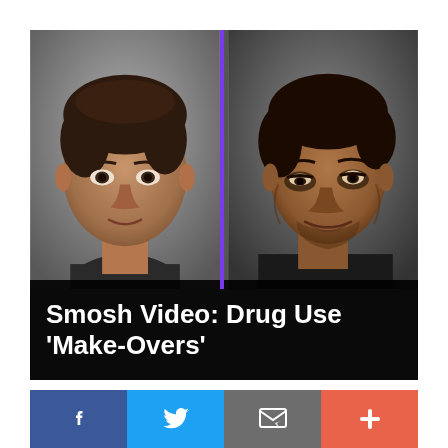[Figure (photo): Split before-and-after photo of a man showing effects of drug use. Left side: normal healthy appearance. Right side: haggard, aged appearance with dark circles and sunken features. A purple vertical line divides the two images. Bottom of image has black overlay with white bold text reading: Smosh Video: Drug Use 'Make-Overs']
Smosh Video: Drug Use 'Make-Overs'
[Figure (infographic): Social sharing bar with four buttons: Facebook (blue, f icon), Twitter (light blue, bird icon), Email (gray, envelope icon), More (red-orange, plus icon)]